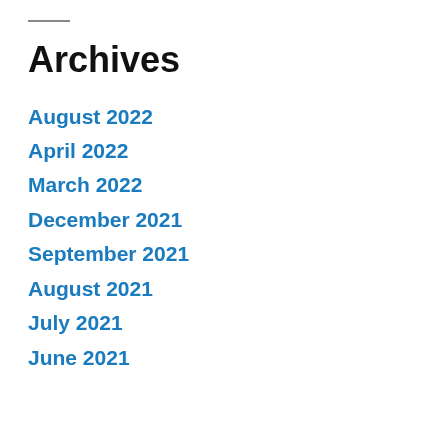Archives
August 2022
April 2022
March 2022
December 2021
September 2021
August 2021
July 2021
June 2021